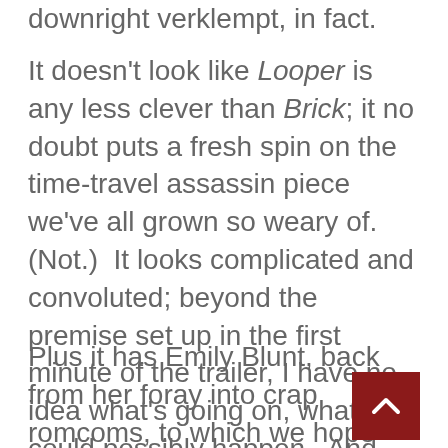downright verklempt, in fact.
It doesn't look like Looper is any less clever than Brick; it no doubt puts a fresh spin on the time-travel assassin piece we've all grown so weary of.  (Not.)  It looks complicated and convoluted; beyond the premise set up in the first minute of the trailer, I have no idea what's going on, what could possibly happen.  And, yes, that is refreshing and well worth the price of admission.
Plus it has Emily Blunt, back from her foray into crap romcoms, to which we hope she'll never return.